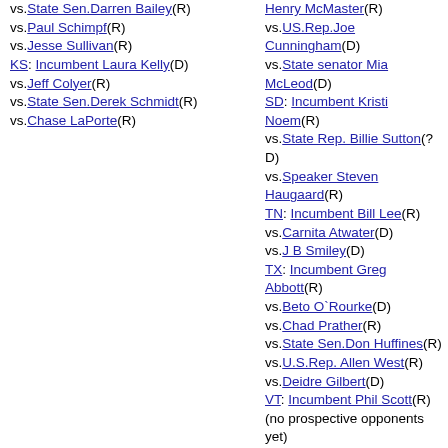vs.State Sen.Darren Bailey(R)
vs.Paul Schimpf(R)
vs.Jesse Sullivan(R)
KS: Incumbent Laura Kelly(D)
vs.Jeff Colyer(R)
vs.State Sen.Derek Schmidt(R)
vs.Chase LaPorte(R)
Henry McMaster(R)
vs.US.Rep.Joe Cunningham(D)
vs.State senator Mia McLeod(D)
SD: Incumbent Kristi Noem(R)
vs.State Rep. Billie Sutton(? D)
vs.Speaker Steven Haugaard(R)
TN: Incumbent Bill Lee(R)
vs.Carnita Atwater(D)
vs.J B Smiley(D)
TX: Incumbent Greg Abbott(R)
vs.Beto O`Rourke(D)
vs.Chad Prather(R)
vs.State Sen.Don Huffines(R)
vs.U.S.Rep. Allen West(R)
vs.Deidre Gilbert(D)
VT: Incumbent Phil Scott(R)
(no prospective opponents yet)
WI: Incumbent